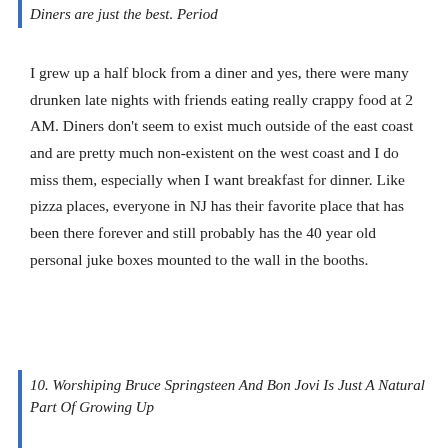Diners are just the best. Period
I grew up a half block from a diner and yes, there were many drunken late nights with friends eating really crappy food at 2 AM. Diners don't seem to exist much outside of the east coast and are pretty much non-existent on the west coast and I do miss them, especially when I want breakfast for dinner. Like pizza places, everyone in NJ has their favorite place that has been there forever and still probably has the 40 year old personal juke boxes mounted to the wall in the booths.
10. Worshiping Bruce Springsteen And Bon Jovi Is Just A Natural Part Of Growing Up